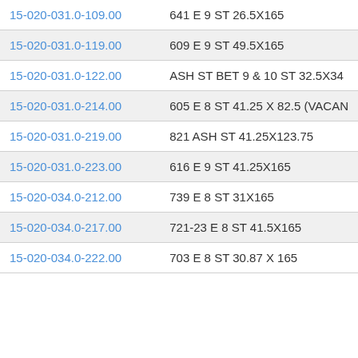| ID | Description |
| --- | --- |
| 15-020-031.0-109.00 | 641 E 9 ST 26.5X165 |
| 15-020-031.0-119.00 | 609 E 9 ST 49.5X165 |
| 15-020-031.0-122.00 | ASH ST BET 9 & 10 ST 32.5X34... |
| 15-020-031.0-214.00 | 605 E 8 ST 41.25 X 82.5 (VACAN... |
| 15-020-031.0-219.00 | 821 ASH ST 41.25X123.75 |
| 15-020-031.0-223.00 | 616 E 9 ST 41.25X165 |
| 15-020-034.0-212.00 | 739 E 8 ST 31X165 |
| 15-020-034.0-217.00 | 721-23 E 8 ST 41.5X165 |
| 15-020-034.0-222.00 | 703 E 8 ST 30.87 X 165 |